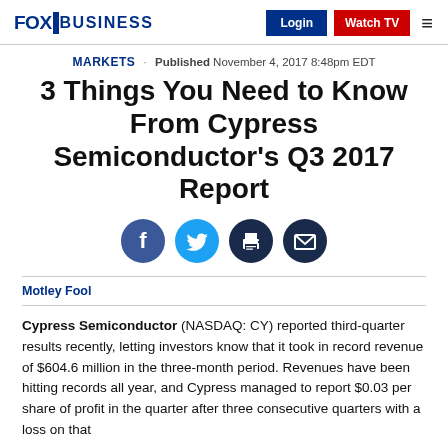FOX BUSINESS | Login | Watch TV
MARKETS · Published November 4, 2017 8:48pm EDT
3 Things You Need to Know From Cypress Semiconductor's Q3 2017 Report
[Figure (other): Social media sharing icons: Facebook, Twitter, Print, Email]
Motley Fool
Cypress Semiconductor (NASDAQ: CY) reported third-quarter results recently, letting investors know that it took in record revenue of $604.6 million in the three-month period. Revenues have been hitting records all year, and Cypress managed to report $0.03 per share of profit in the quarter after three consecutive quarters with a loss on that